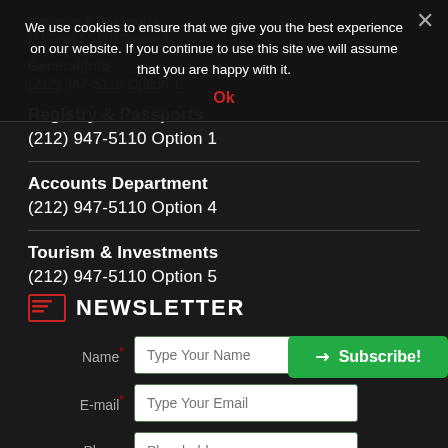We use cookies to ensure that we give you the best experience on our website. If you continue to use this site we will assume that you are happy with it.
Ok
General Info
(212) 947-5110 Option 1
Registry & Passports
(212) 947-5110 Option 1
Accounts Department
(212) 947-5110 Option 4
Tourism & Investments
(212) 947-5110 Option 5
NEWSLETTER
Name* — Type Your Name (input field)
E-mail* — Type Your Email (input field)
Phone — Placeholder (input field)
Subscribe! (button)